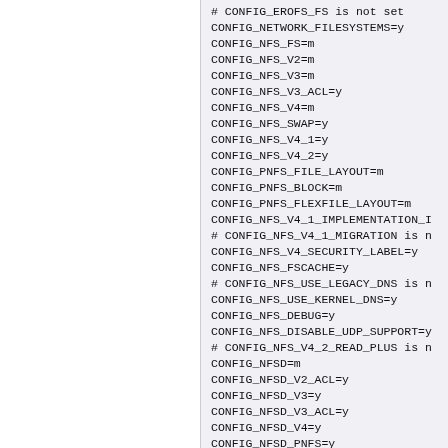# CONFIG_EROFS_FS is not set
CONFIG_NETWORK_FILESYSTEMS=y
CONFIG_NFS_FS=m
CONFIG_NFS_V2=m
CONFIG_NFS_V3=m
CONFIG_NFS_V3_ACL=y
CONFIG_NFS_V4=m
CONFIG_NFS_SWAP=y
CONFIG_NFS_V4_1=y
CONFIG_NFS_V4_2=y
CONFIG_PNFS_FILE_LAYOUT=m
CONFIG_PNFS_BLOCK=m
CONFIG_PNFS_FLEXFILE_LAYOUT=m
CONFIG_NFS_V4_1_IMPLEMENTATION_I...
# CONFIG_NFS_V4_1_MIGRATION is n...
CONFIG_NFS_V4_SECURITY_LABEL=y
CONFIG_NFS_FSCACHE=y
# CONFIG_NFS_USE_LEGACY_DNS is n...
CONFIG_NFS_USE_KERNEL_DNS=y
CONFIG_NFS_DEBUG=y
CONFIG_NFS_DISABLE_UDP_SUPPORT=y...
# CONFIG_NFS_V4_2_READ_PLUS is n...
CONFIG_NFSD=m
CONFIG_NFSD_V2_ACL=y
CONFIG_NFSD_V3=y
CONFIG_NFSD_V3_ACL=y
CONFIG_NFSD_V4=y
CONFIG_NFSD_PNFS=y
CONFIG_NFSD_BLOCKLAYOUT=y
# CONFIG_NFSD_SCSILAYOUT is not...
# CONFIG_NFSD_FLEXFILELAYOUT is...
# CONFIG_NFSD_V4_2_INTER_SSC is...